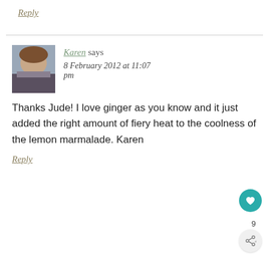Reply
Karen says
8 February 2012 at 11:07 pm
Thanks Jude! I love ginger as you know and it just added the right amount of fiery heat to the coolness of the lemon marmalade. Karen
Reply